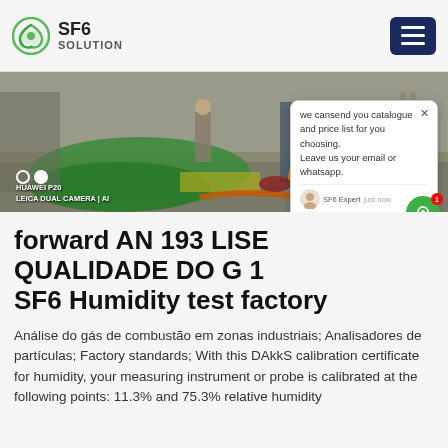SF6 SOLUTION
[Figure (photo): Industrial site photo taken with HUAWEI P20 LEICA DUAL CAMERA | AI showing workers near green tarpaulin and equipment]
forward AN 193 LISE QUALIDADE DO G 1 SF6 Humidity test factory
Análise do gás de combustão em zonas industriais; Analisadores de partículas; Factory standards; With this DAkkS calibration certificate for humidity, your measuring instrument or probe is calibrated at the following points: 11.3% and 75.3% relative humidity